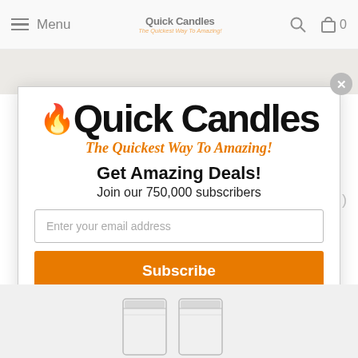Menu | Quick Candles - The Quickest Way To Amazing! | Search | Cart 0
[Figure (screenshot): Quick Candles popup modal with logo, tagline, email signup form and subscribe button]
Get Amazing Deals!
Join our 750,000 subscribers